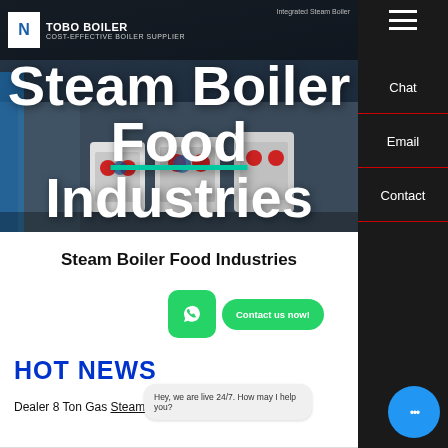[Figure (screenshot): Website screenshot of TOBO Boiler - Cost-Effective Boiler Supplier. Hero image shows industrial steam boilers against dark blue background.]
Steam Boiler Food Industries
Steam Boiler Food Industries
[Figure (illustration): WhatsApp icon (green rounded square) and green Contact us now! button]
HOT NEWS
Dealer 8 Ton Gas Steam Boiler Russia
Hey, we are live 24/7. How may I help you?